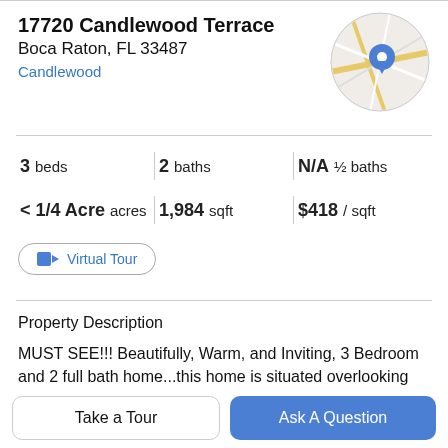17720 Candlewood Terrace
Boca Raton, FL 33487
Candlewood
[Figure (map): Circular map thumbnail with a blue location pin marker on street map of the property area]
3 beds | 2 baths | N/A ½ baths
< 1/4 Acre acres | 1,984 sqft | $418 / sqft
Virtual Tour
Property Description
MUST SEE!!! Beautifully, Warm, and Inviting, 3 Bedroom and 2 full bath home...this home is situated overlooking Boca Country Club golf course with stunning views &
enclosed Patio. Beautifully updated Kitchen and
Take a Tour
Ask A Question